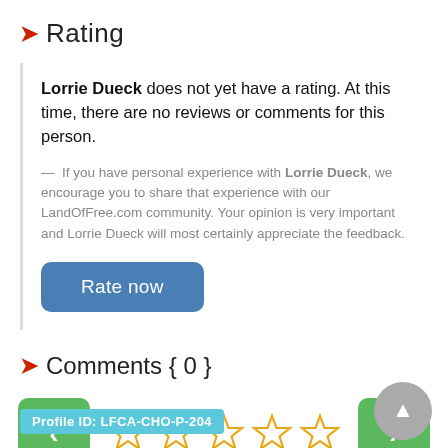Rating
Lorrie Dueck does not yet have a rating. At this time, there are no reviews or comments for this person.

— If you have personal experience with Lorrie Dueck, we encourage you to share that experience with our LandOfFree.com community. Your opinion is very important and Lorrie Dueck will most certainly appreciate the feedback.
[Figure (other): Blue rounded rectangle button labeled 'Rate now']
Comments { 0 }
[Figure (other): Navigation row with green left arrow button, five empty star rating icons (gold outline), and green right arrow button]
Profile ID: LFCA-CHO-P-204